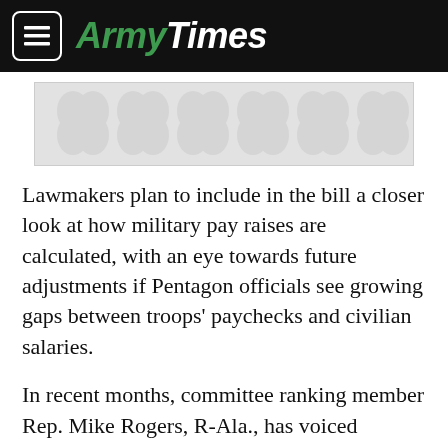ArmyTimes
[Figure (other): Advertisement placeholder with decorative pattern]
Lawmakers plan to include in the bill a closer look at how military pay raises are calculated, with an eye towards future adjustments if Pentagon officials see growing gaps between troops' paychecks and civilian salaries.
In recent months, committee ranking member Rep. Mike Rogers, R-Ala., has voiced concerns that enlisted pay rates may be too low to ensure stable recruiting and retention levels for the services.
[Figure (other): Advertisement placeholder with decorative pattern at bottom]